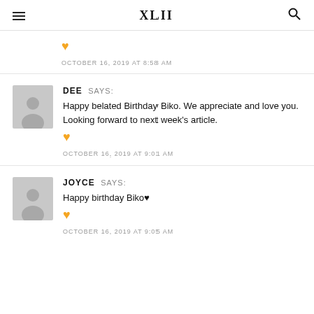XLII
OCTOBER 16, 2019 AT 8:58 AM
DEE SAYS: Happy belated Birthday Biko. We appreciate and love you. Looking forward to next week's article.
OCTOBER 16, 2019 AT 9:01 AM
JOYCE SAYS: Happy birthday Biko♥
OCTOBER 16, 2019 AT 9:05 AM